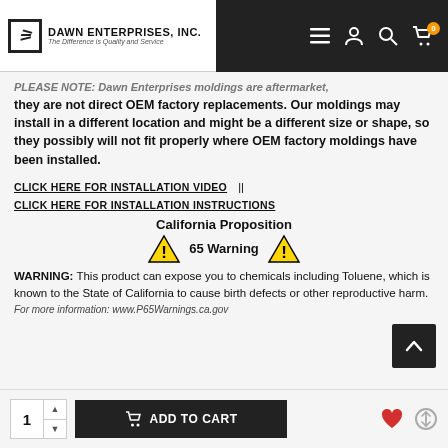DAWN ENTERPRISES, INC. — The Difference is Quality and Service
PLEASE NOTE: Dawn Enterprises moldings are aftermarket, they are not direct OEM factory replacements. Our moldings may install in a different location and might be a different size or shape, so they possibly will not fit properly where OEM factory moldings have been installed.
CLICK HERE FOR INSTALLATION VIDEO   ||   CLICK HERE FOR INSTALLATION INSTRUCTIONS
California Proposition 65 Warning
WARNING: This product can expose you to chemicals including Toluene, which is known to the State of California to cause birth defects or other reproductive harm.
For more information: www.P65Warnings.ca.gov